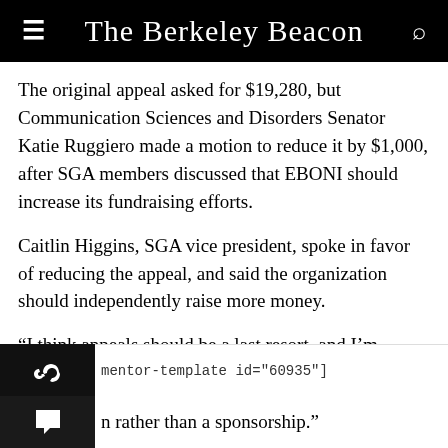The Berkeley Beacon
The original appeal asked for $19,280, but Communication Sciences and Disorders Senator Katie Ruggiero made a motion to reduce it by $1,000, after SGA members discussed that EBONI should increase its fundraising efforts.
Caitlin Higgins, SGA vice president, spoke in favor of reducing the appeal, and said the organization should independently raise more money.
“I think appeals should be a last resort, and I’m hesitant because your org didn’t fundraise,” Higgins said. “Personally, I would like to see you guys fundraise on your own rather than a sponsorship.”
[mentor-template id="60935"]